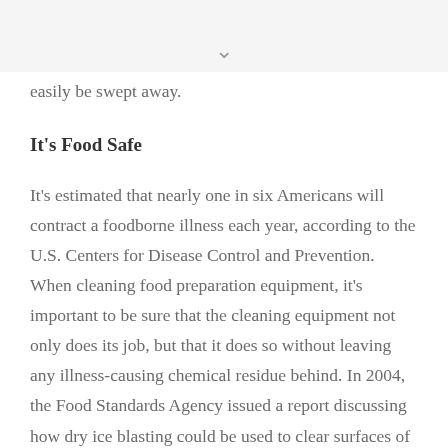easily be swept away.
It's Food Safe
It's estimated that nearly one in six Americans will contract a foodborne illness each year, according to the U.S. Centers for Disease Control and Prevention. When cleaning food preparation equipment, it's important to be sure that the cleaning equipment not only does its job, but that it does so without leaving any illness-causing chemical residue behind. In 2004, the Food Standards Agency issued a report discussing how dry ice blasting could be used to clear surfaces of harmful bacteria such as E. coli, Salmonella, and